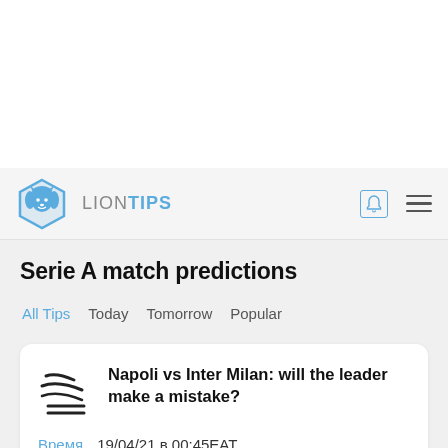LIONTIPS
Serie A match predictions
All Tips
Today
Tomorrow
Popular
Napoli vs Inter Milan: will the leader make a mistake?
Время  19/04/21 в 00:45EAT